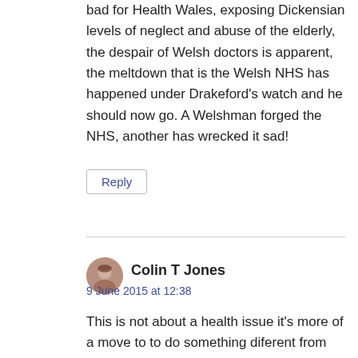bad for Health Wales, exposing Dickensian levels of neglect and abuse of the elderly, the despair of Welsh doctors is apparent, the meltdown that is the Welsh NHS has happened under Drakeford's watch and he should now go. A Welshman forged the NHS, another has wrecked it sad!
Reply
[Figure (photo): Circular avatar photo of Colin T Jones, a man with short grey hair]
Colin T Jones
9 June 2015 at 12:38
This is not about a health issue it's more of a move to to do something diferent from westminster, for example, when Wales was able to govern itself, the